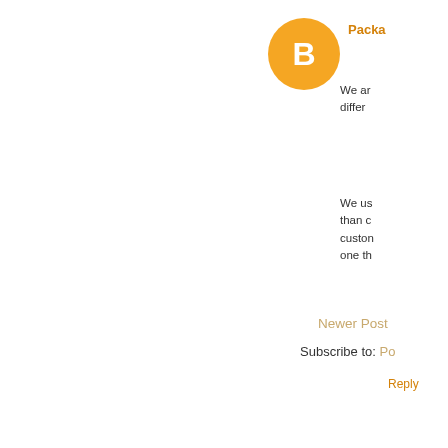[Figure (illustration): Blogger avatar icon: orange circle with white letter B]
Packa
We ar different
We us than c custon one th
Reply
Newer Post
Subscribe to: Po